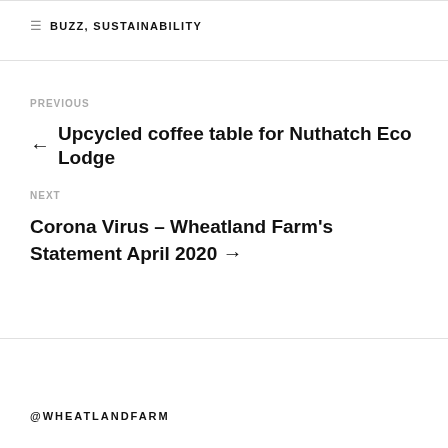BUZZ, SUSTAINABILITY
PREVIOUS
← Upcycled coffee table for Nuthatch Eco Lodge
NEXT
Corona Virus – Wheatland Farm's Statement April 2020 →
@WHEATLANDFARM